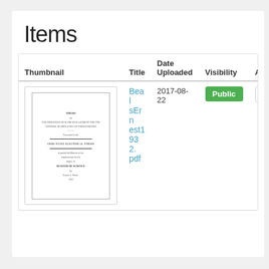Items
| Thumbnail | Title | Date
Uploaded | Visibility | Actions |
| --- | --- | --- | --- | --- |
| [thumbnail image] | BealsErnest1932.pdf | 2017-08-22 | Public | Select |